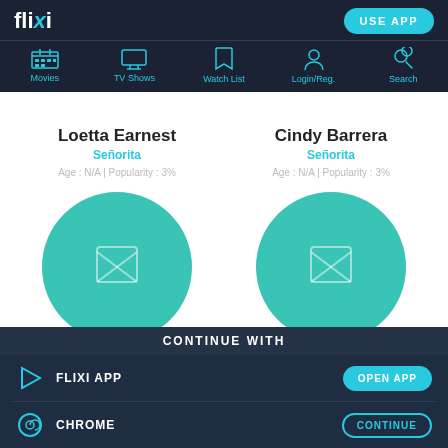flixi — USE APP
[Figure (screenshot): Navigation bar icons: Movies, TV Shows, Watch List, Login/Reg., Search]
Loetta Earnest
Señorita
Age : N/A | Popularity : 3%
Cindy Barrera
Señorita
Age : N/A | Popularity : 3%
[Figure (illustration): Teal circular avatar placeholder for Loetta Earnest with broken image icon]
[Figure (illustration): Teal circular avatar placeholder for Cindy Barrera with broken image icon]
CONTINUE WITH
FLIXI APP
CHROME